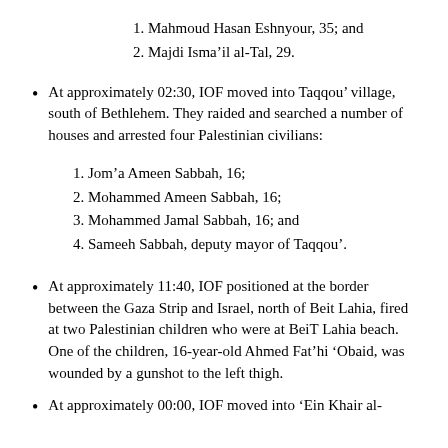1. Mahmoud Hasan Eshnyour, 35; and
2. Majdi Isma'il al-Tal, 29.
At approximately 02:30, IOF moved into Taqqou' village, south of Bethlehem. They raided and searched a number of houses and arrested four Palestinian civilians:
1. Jom'a Ameen Sabbah, 16;
2. Mohammed Ameen Sabbah, 16;
3. Mohammed Jamal Sabbah, 16; and
4. Sameeh Sabbah, deputy mayor of Taqqou'.
At approximately 11:40, IOF positioned at the border between the Gaza Strip and Israel, north of Beit Lahia, fired at two Palestinian children who were at BeiT Lahia beach. One of the children, 16-year-old Ahmed Fat'hi 'Obaid, was wounded by a gunshot to the left thigh.
At approximately 00:00, IOF moved into 'Ein Khair al-